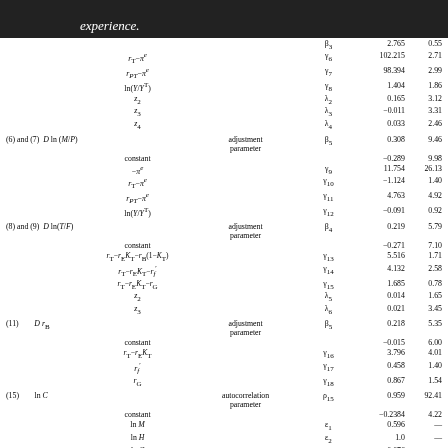experience.
| Equation | Variable | Description | Coefficient | Value | t-stat |
| --- | --- | --- | --- | --- | --- |
|  | r_T - π^e |  | γ_6 | 102.215 | 2.71 |
|  | r_PT - π^e |  | γ_7 | 98.394 | 2.99 |
|  | ln(Y/Y^T) |  | γ_8 | 1.404 | 1.86 |
|  | z_2 |  | λ_2 | 0.165 | 3.12 |
|  | z_3 |  | λ_3 | −0.011 | 3.31 |
|  | z_4 |  | λ_4 | 0.033 | 2.46 |
| (6) and (7) | D ln (M/P) | adjustment parameter | β_5 | 0.308 | 9.46 |
|  | constant |  |  | −0.289 | 9.98 |
|  | −π^e |  | γ_9 | 11.754 | 26.13 |
|  | r_T − π^e |  | γ_10 | −1.124 | 1.40 |
|  | r_PT − π^e |  | γ_11 | 4.763 | 4.92 |
|  | ln(Y/Y^T) |  | γ_12 | −0.091 | 0.92 |
| (8) and (9) | D ln(T/F) | adjustment parameter | β_4 | 0.219 | 5.79 |
|  | constant |  |  | −0.271 | 7.10 |
|  | r_T − r_E K_T − r_B(1−K_T) |  | γ_13 | 5.516 | 1.71 |
|  | r_T − r_E K_T − r_f' |  | γ_14 | 4.132 | 2.58 |
|  | r_T − r_E K_T − r_G |  | γ_15 | 1.685 | 0.78 |
|  | z_2 |  | λ_5 | 0.014 | 1.65 |
|  | z_3 |  | λ_6 | 0.021 | 3.45 |
| (11) | D r_B | adjustment parameter | β_5 | 0.218 | 5.35 |
|  | constant |  |  | −0.015 | 6.00 |
|  | r_T − r_E K_T |  | γ_16 | 3.796 | 4.01 |
|  | r_f' |  | γ_17 | 0.458 | 1.40 |
|  | r_G |  | γ_18 | 0.867 | 1.54 |
| (15) | ln C | autocorrelation parameter | ρ_15 | 0.959 | 92.41 |
|  | constant |  |  | −0.2384 | 4.22 |
|  | ln M |  | ε_1 | 0.596 | — |
|  | ln H |  | ε_2 | 1.0 | — |
|  | ln C |  | ε_3 | −0.076 | — |
|  | ln ERR |  | ε_4 | −0.070 | — |
|  | ln FD |  | ε_5 | −0.043 | — |
|  | ln GD |  | ε_6 | −0.187 | — |